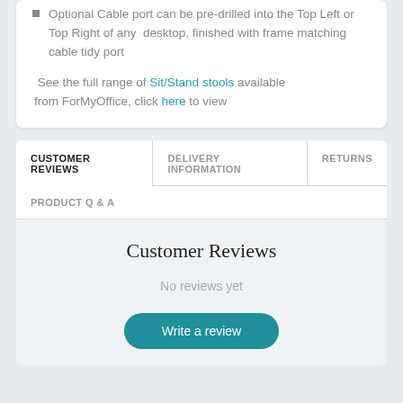Optional Cable port can be pre-drilled into the Top Left or Top Right of any desktop, finished with frame matching cable tidy port
See the full range of Sit/Stand stools available from ForMyOffice, click here to view
CUSTOMER REVIEWS | DELIVERY INFORMATION | RETURNS | PRODUCT Q & A
Customer Reviews
No reviews yet
Write a review